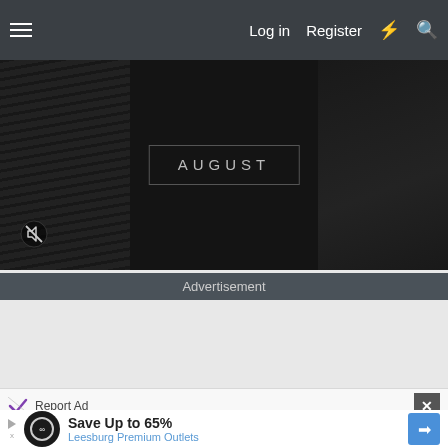Log in   Register
[Figure (screenshot): Dark hero image showing the word AUGUST in a bordered box over a dark suit/clothing background with a mute icon in the bottom left.]
Advertisement
[Figure (screenshot): Empty advertisement space placeholder]
Report Ad
[Figure (screenshot): Ad banner: Save Up to 65% Leesburg Premium Outlets with logo and directional arrow icon]